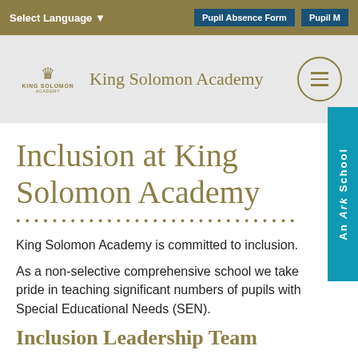Select Language ▾   Pupil Absence Form   Pupil M...
[Figure (logo): King Solomon Academy logo with crown and school name in gold]
Inclusion at King Solomon Academy
King Solomon Academy is committed to inclusion.
As a non-selective comprehensive school we take pride in teaching significant numbers of pupils with Special Educational Needs (SEN).
Inclusion Leadership Team